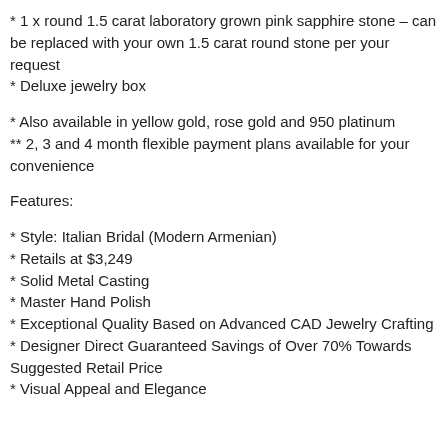* 1 x round 1.5 carat laboratory grown pink sapphire stone – can be replaced with your own 1.5 carat round stone per your request
* Deluxe jewelry box
* Also available in yellow gold, rose gold and 950 platinum
** 2, 3 and 4 month flexible payment plans available for your convenience
Features:
* Style: Italian Bridal (Modern Armenian)
* Retails at $3,249
* Solid Metal Casting
* Master Hand Polish
* Exceptional Quality Based on Advanced CAD Jewelry Crafting
* Designer Direct Guaranteed Savings of Over 70% Towards Suggested Retail Price
* Visual Appeal and Elegance